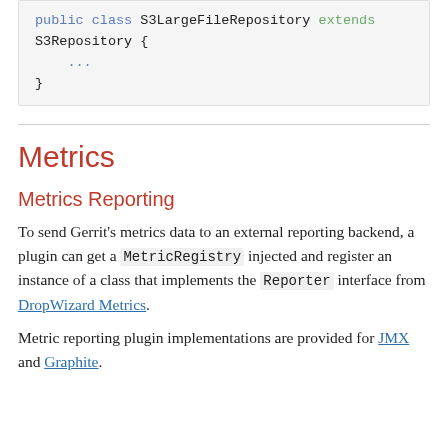[Figure (screenshot): Code block showing: public class S3LargeFileRepository extends S3Repository { ... }]
Metrics
Metrics Reporting
To send Gerrit's metrics data to an external reporting backend, a plugin can get a MetricRegistry injected and register an instance of a class that implements the Reporter interface from DropWizard Metrics.
Metric reporting plugin implementations are provided for JMX and Graphite.